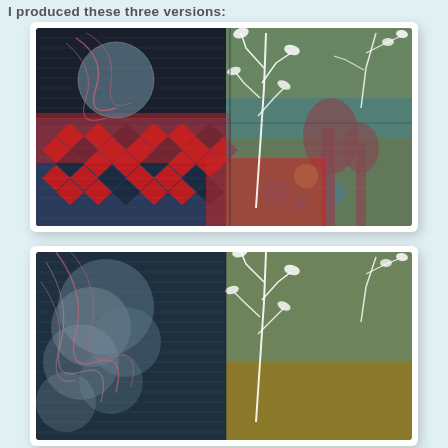I produced these three versions:
[Figure (illustration): Abstract mixed-media collage artwork showing geometric diamond/harlequin pattern in red and dark blue on left, with overlapping botanical silhouettes (branches and leaves in white and teal) on right half, teal/red tree forms, circular globe shapes, yellow-green upper right quadrant, photographic dark teal background elements. Horizontal line textures overlaid throughout. White border framing.]
[Figure (illustration): Second version of the abstract mixed-media artwork, showing similar composition but the left half is predominantly dark teal/navy with overlapping translucent circles, and the right half has the golden-yellow background with white botanical silhouettes. Cropped to show approximately top half of the composition.]